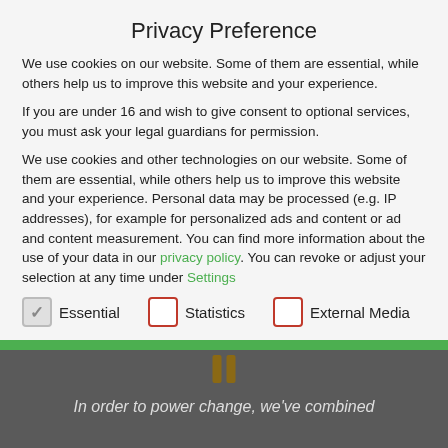Privacy Preference
We use cookies on our website. Some of them are essential, while others help us to improve this website and your experience.
If you are under 16 and wish to give consent to optional services, you must ask your legal guardians for permission.
We use cookies and other technologies on our website. Some of them are essential, while others help us to improve this website and your experience. Personal data may be processed (e.g. IP addresses), for example for personalized ads and content or ad and content measurement. You can find more information about the use of your data in our privacy policy. You can revoke or adjust your selection at any time under Settings
✓ Essential
Statistics
External Media
In order to power change, we've combined